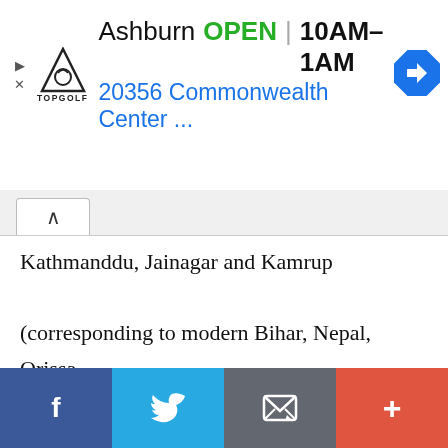[Figure (infographic): Topgolf advertisement banner showing location: Ashburn, OPEN 10AM-1AM, 20356 Commonwealth Center ...]
Kathmanddu, Jainagar and Kamrup (corresponding to modern Bihar, Nepal, Orissa and Assam). Then, Sultan Ala-al-Din Husain Shah (1493-1519), in the second year of his reign also
This website uses cookies to ensure you get the best experience on our website.
Got it!
[Figure (infographic): Social sharing bar with Facebook, Twitter, Email, and plus buttons at the bottom of the page]